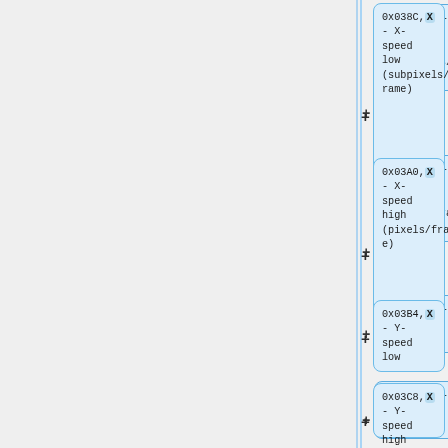[Figure (flowchart): Engineering/technical diagram showing a series of register address boxes on the right side connected with plus signs, and partially visible boxes at the bottom. Blue boxes list: 0x038C,X - X-speed low (subpixels/frame); 0x03A0,X - X-speed high (pixels/frame); 0x03B4,X - Y-speed low; 0x03C8,X - Y-speed high. At the bottom: a yellow box 0x051C - Pointer to object's AI script (low byte) and a blue box 0x051C,X - Pointer to object's AI script (low byte).]